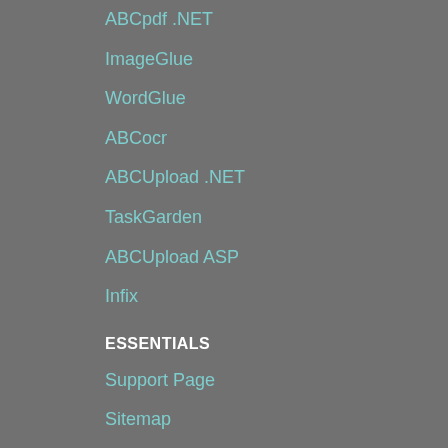ABCpdf .NET
ImageGlue
WordGlue
ABCocr
ABCUpload .NET
TaskGarden
ABCUpload ASP
Infix
ESSENTIALS
Support Page
Sitemap
Cookies & Privacy
Languages Supported
Preferred Reseller